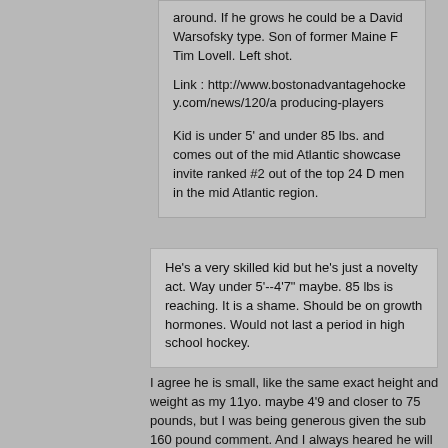around. If he grows he could be a David Warsofsky type. Son of former Maine F Tim Lovell. Left shot.

Link : http://www.bostonadvantagehockey.com/news/120/a producing-players

Kid is under 5' and under 85 lbs. and comes out of the mid Atlantic showcase invite ranked #2 out of the top 24 D men in the mid Atlantic region.
He's a very skilled kid but he's just a novelty act. Way under 5'--4'7" maybe. 85 lbs is reaching. It is a shame. Should be on growth hormones. Would not last a period in high school hockey.
I agree he is small, like the same exact height and weight as my 11yo. maybe 4'9 and closer to 75 pounds, but I was being generous given the sub 160 pound comment. And I always heared he will get killed playing U16 when he was